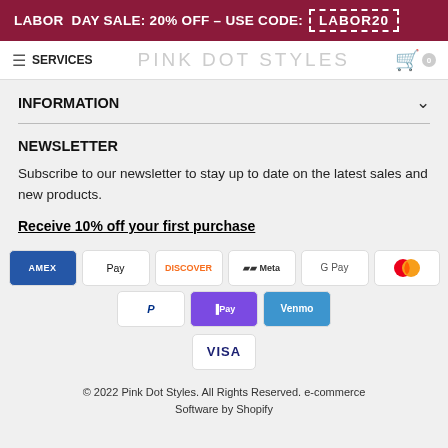LABOR DAY SALE: 20% OFF – USE CODE: LABOR20
SERVICES   PINK DOT STYLES
INFORMATION
NEWSLETTER
Subscribe to our newsletter to stay up to date on the latest sales and new products.
Receive 10% off your first purchase
[Figure (other): Payment method icons: American Express, Apple Pay, Discover, Meta Pay, Google Pay, Mastercard, PayPal, Shop Pay, Venmo, Visa]
© 2022 Pink Dot Styles. All Rights Reserved. e-commerce Software by Shopify